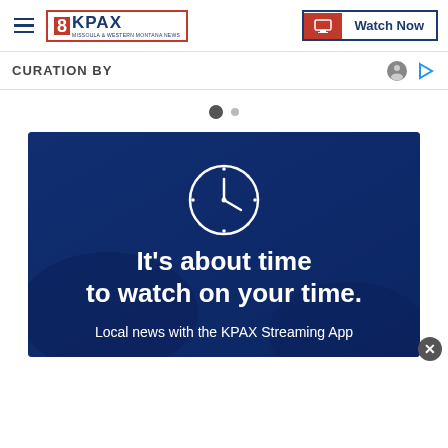8KPAX | Watch Now
CURATION BY
[Figure (screenshot): KPAX Streaming App advertisement with blue background, clock icon, and text: It's about time to watch on your time. Local news with the KPAX Streaming App]